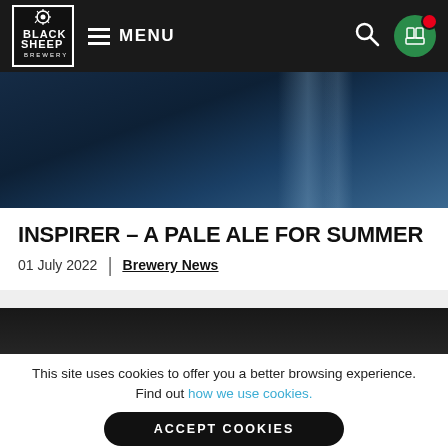Black Sheep Brewery — MENU navigation bar with logo, hamburger menu, search icon, and cart icon
[Figure (photo): Dark blue abstract hero banner image with light streaks]
INSPIRER – A PALE ALE FOR SUMMER
01 July 2022  |  Brewery News
[Figure (photo): Dark textured image strip — partial second article or product image]
This site uses cookies to offer you a better browsing experience. Find out how we use cookies.
ACCEPT COOKIES